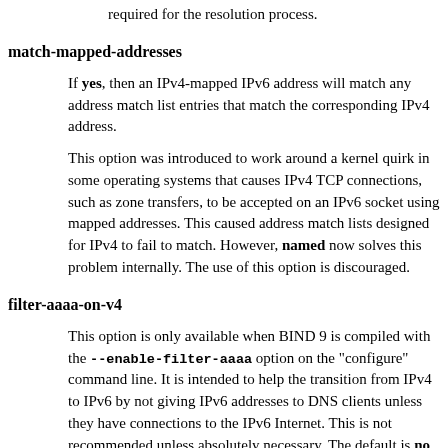required for the resolution process.
match-mapped-addresses
If yes, then an IPv4-mapped IPv6 address will match any address match list entries that match the corresponding IPv4 address.
This option was introduced to work around a kernel quirk in some operating systems that causes IPv4 TCP connections, such as zone transfers, to be accepted on an IPv6 socket using mapped addresses. This caused address match lists designed for IPv4 to fail to match. However, named now solves this problem internally. The use of this option is discouraged.
filter-aaaa-on-v4
This option is only available when BIND 9 is compiled with the --enable-filter-aaaa option on the "configure" command line. It is intended to help the transition from IPv4 to IPv6 by not giving IPv6 addresses to DNS clients unless they have connections to the IPv6 Internet. This is not recommended unless absolutely necessary. The default is no. The filter-aaaa-on-v4 option may also be specified in view